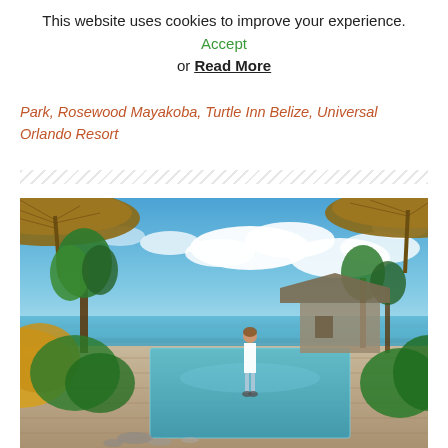This website uses cookies to improve your experience. Accept or Read More
Park, Rosewood Mayakoba, Turtle Inn Belize, Universal Orlando Resort
[Figure (photo): Tropical resort photo showing an infinity pool with thatched umbrellas, lush tropical vegetation, stone architecture, a person standing by the pool, and a bright blue ocean and sky in the background.]